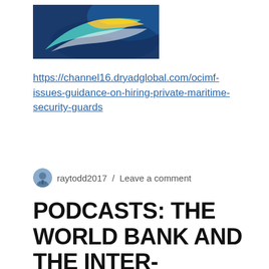[Figure (logo): Dryad Global / maritime security logo with blue background and stylized wave/bird graphic]
https://channel16.dryadglobal.com/ocimf-issues-guidance-on-hiring-private-maritime-security-guards
raytodd2017 / Leave a comment
PODCASTS: THE WORLD BANK AND THE INTER-AMERICAN DEVELOPMENT BANK